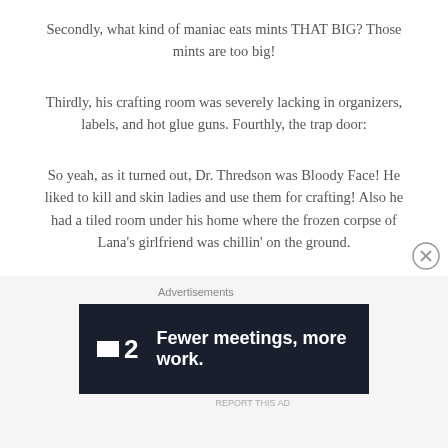Secondly, what kind of maniac eats mints THAT BIG? Those mints are too big!
Thirdly, his crafting room was severely lacking in organizers, labels, and hot glue guns. Fourthly, the trap door:
So yeah, as it turned out, Dr. Thredson was Bloody Face! He liked to kill and skin ladies and use them for crafting! Also he had a tiled room under his home where the frozen corpse of Lana’s girlfriend was chillin’ on the ground.
[Figure (other): Advertisement banner: F2 logo with text 'Fewer meetings, more work.' on dark background]